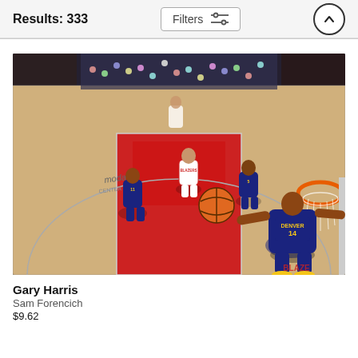Results: 333
[Figure (photo): Aerial view of an NBA basketball game at Moda Center. Player #14 Gary Harris of the Denver Nuggets (in navy blue uniform) is going for a layup near the basket, holding the basketball, with teammates and Portland Trail Blazers defenders visible in the background on the court.]
Gary Harris
Sam Forencich
$9.62